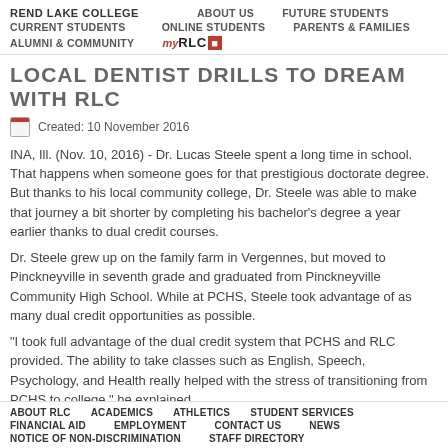REND LAKE COLLEGE  ABOUT US  FUTURE STUDENTS  CURRENT STUDENTS  ONLINE STUDENTS  PARENTS & FAMILIES  ALUMNI & COMMUNITY  myRLC
LOCAL DENTIST DRILLS TO DREAM WITH RLC
Created: 10 November 2016
INA, Ill. (Nov. 10, 2016) - Dr. Lucas Steele spent a long time in school. That happens when someone goes for that prestigious doctorate degree. But thanks to his local community college, Dr. Steele was able to make that journey a bit shorter by completing his bachelor's degree a year earlier thanks to dual credit courses.
Dr. Steele grew up on the family farm in Vergennes, but moved to Pinckneyville in seventh grade and graduated from Pinckneyville Community High School. While at PCHS, Steele took advantage of as many dual credit opportunities as possible.
"I took full advantage of the dual credit system that PCHS and RLC provided. The ability to take classes such as English, Speech, Psychology, and Health really helped with the stress of transitioning from PCHS to college," he explained.
"Those classes I took made me get out of the high school mode of thinking and made me start to think out of the box to help transition to college level co...
ABOUT RLC  ACADEMICS  ATHLETICS  STUDENT SERVICES  FINANCIAL AID  EMPLOYMENT  CONTACT US  NEWS  NOTICE OF NON-DISCRIMINATION  STAFF DIRECTORY